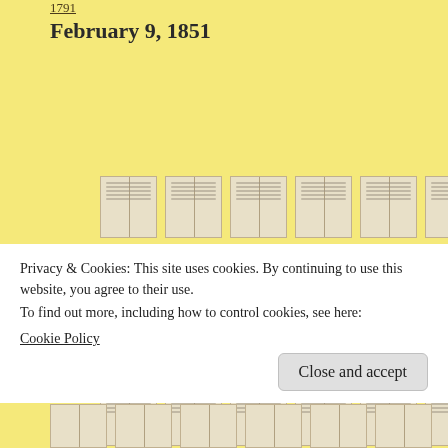1791
February 9, 1851
[Figure (other): Grid of 30 thumbnail images of historical handwritten document pages, arranged in 5 rows of 6 columns. Each thumbnail shows a folded/spread document with handwritten text in ink.]
Privacy & Cookies: This site uses cookies. By continuing to use this website, you agree to their use.
To find out more, including how to control cookies, see here:
Cookie Policy

Close and accept
[Figure (other): Partial row of thumbnail images of historical handwritten document pages at the bottom of the page.]